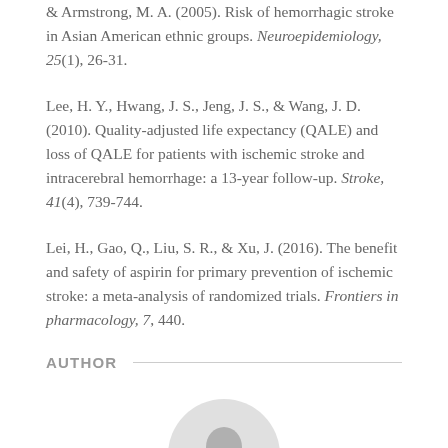& Armstrong, M. A. (2005). Risk of hemorrhagic stroke in Asian American ethnic groups. Neuroepidemiology, 25(1), 26-31.
Lee, H. Y., Hwang, J. S., Jeng, J. S., & Wang, J. D. (2010). Quality-adjusted life expectancy (QALE) and loss of QALE for patients with ischemic stroke and intracerebral hemorrhage: a 13-year follow-up. Stroke, 41(4), 739-744.
Lei, H., Gao, Q., Liu, S. R., & Xu, J. (2016). The benefit and safety of aspirin for primary prevention of ischemic stroke: a meta-analysis of randomized trials. Frontiers in pharmacology, 7, 440.
AUTHOR
[Figure (photo): Circular author photo showing a person, partially cropped at bottom of page]